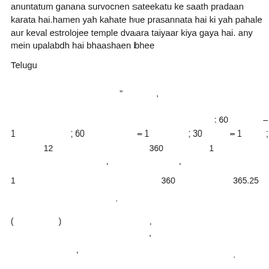anuntatum ganana survocnen sateekatu ke saath pradaan karata hai.hamen yah kahate hue prasannata hai ki yah pahale aur keval estrolojee temple dvaara taiyaar kiya gaya hai. any mein upalabdh hai bhaashaen bhee
Telugu
" ,
: 60 –
1 ; 60 – 1 ; 30 – 1 ;
12 360 1
' '
1 360 365.25
.
( ) ,
'
' .